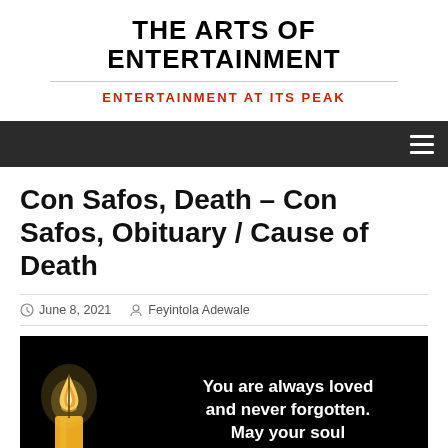THE ARTS OF ENTERTAINMENT
ENTERTAINMENT AT ITS PEAK
Con Safos, Death – Con Safos, Obituary / Cause of Death
June 8, 2021   Feyintola Adewale
[Figure (photo): Black background image with a lit candle on the left and white bold text reading: You are always loved and never forgotten. May your soul]